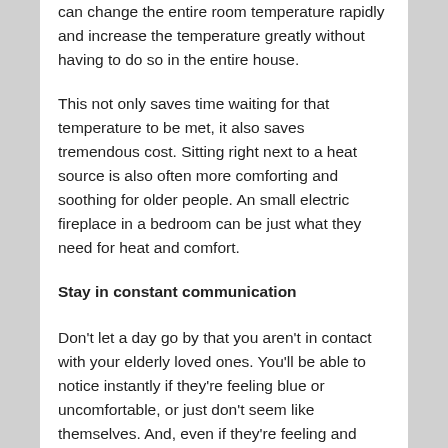can change the entire room temperature rapidly and increase the temperature greatly without having to do so in the entire house.
This not only saves time waiting for that temperature to be met, it also saves tremendous cost. Sitting right next to a heat source is also often more comforting and soothing for older people. An small electric fireplace in a bedroom can be just what they need for heat and comfort.
Stay in constant communication
Don't let a day go by that you aren't in contact with your elderly loved ones. You'll be able to notice instantly if they're feeling blue or uncomfortable, or just don't seem like themselves. And, even if they're feeling and doing great (which we hope for every day!), you'll still get a conversation that you wouldn't have had otherwise and every conversation is precious. You'll feel good, they'll feel good, and you'll get to share a little more love every